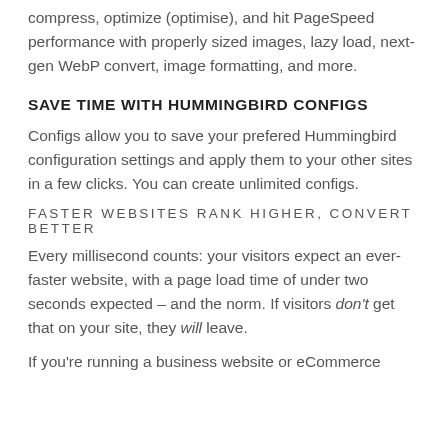compress, optimize (optimise), and hit PageSpeed performance with properly sized images, lazy load, next-gen WebP convert, image formatting, and more.
SAVE TIME WITH HUMMINGBIRD CONFIGS
Configs allow you to save your prefered Hummingbird configuration settings and apply them to your other sites in a few clicks. You can create unlimited configs.
FASTER WEBSITES RANK HIGHER, CONVERT BETTER
Every millisecond counts: your visitors expect an ever-faster website, with a page load time of under two seconds expected – and the norm. If visitors don't get that on your site, they will leave.
If you're running a business website or eCommerce